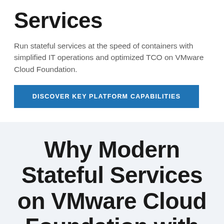Services
Run stateful services at the speed of containers with simplified IT operations and optimized TCO on VMware Cloud Foundation.
DISCOVER KEY PLATFORM CAPABILITIES
Why Modern Stateful Services on VMware Cloud Foundation with Ta...